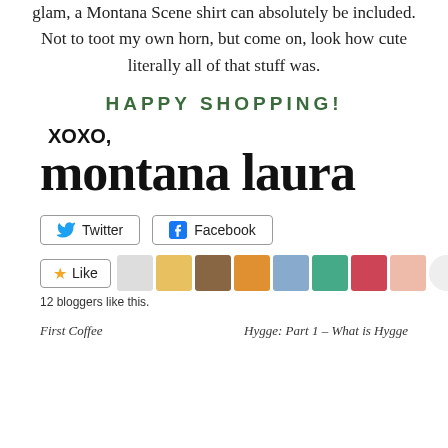glam, a Montana Scene shirt can absolutely be included. Not to toot my own horn, but come on, look how cute literally all of that stuff was.
HAPPY SHOPPING!
XOXO,
montana laura
Twitter   Facebook
12 bloggers like this.
First Coffee     Hygge: Part 1 – What is Hygge